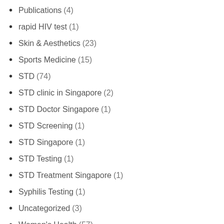Publications (4)
rapid HIV test (1)
Skin & Aesthetics (23)
Sports Medicine (15)
STD (74)
STD clinic in Singapore (2)
STD Doctor Singapore (1)
STD Screening (1)
STD Singapore (1)
STD Testing (1)
STD Treatment Singapore (1)
Syphilis Testing (1)
Uncategorized (3)
Women's Health (57)
ALL RELATED INFO
Appointment Request
17 HIV cases detected in Greek Brothels